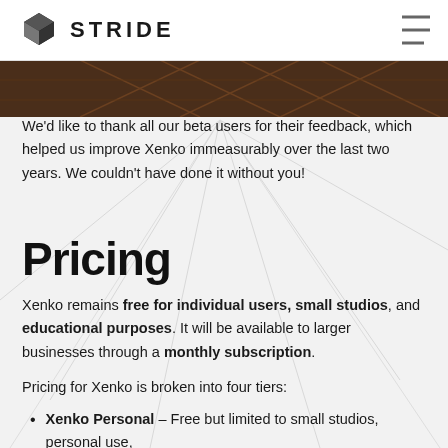STRIDE
[Figure (photo): Dark brownish geometric/hexagonal pattern image banner at the top of the content area]
We'd like to thank all our beta users for their feedback, which helped us improve Xenko immeasurably over the last two years. We couldn't have done it without you!
Pricing
Xenko remains free for individual users, small studios, and educational purposes. It will be available to larger businesses through a monthly subscription.
Pricing for Xenko is broken into four tiers:
Xenko Personal – Free but limited to small studios, personal use,